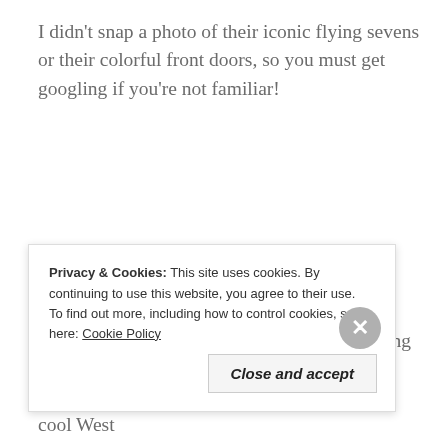I didn't snap a photo of their iconic flying sevens or their colorful front doors, so you must get googling if you're not familiar!
Next up, the West Elm house. This house is actually owned and was renovated by Acme House Co., a vacation rental company, meaning you can rent it! West Elm furnished it. The furnishings were fine and all, basically like a cool West
Privacy & Cookies: This site uses cookies. By continuing to use this website, you agree to their use.
To find out more, including how to control cookies, see here: Cookie Policy
Close and accept